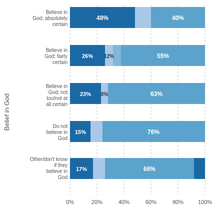[Figure (stacked-bar-chart): ]